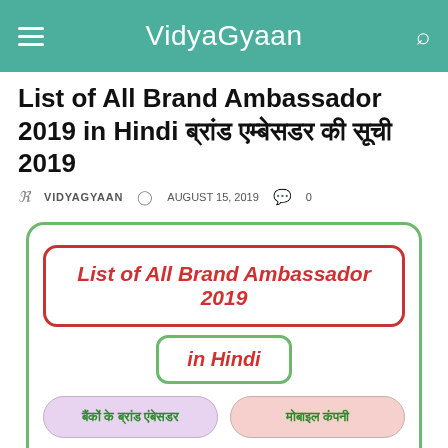VidyaGyaan
List of All Brand Ambassador 2019 in Hindi ब्रांड एम्बेसडर की सूची 2019
VIDYAGYAAN  AUGUST 15, 2019  0
[Figure (infographic): Infographic box with green border containing: red-bordered badge 'List of All Brand Ambassador 2019', green-bordered badge 'in Hindi', two category buttons 'बैंकों के ब्रांड एंबेसडर' (lavender) and 'मोबाइल कंपनी' (pink), and a blue button 'राज्यों के ब्रांड एंबेसडर']